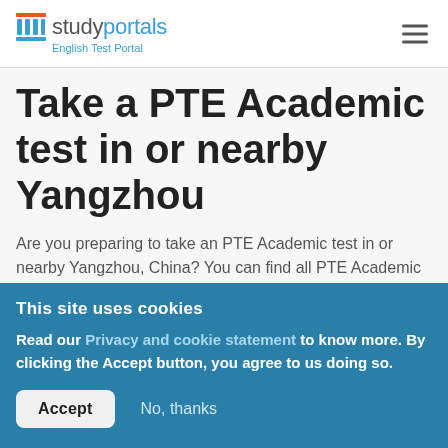studyportals — English Test Portal
Take a PTE Academic test in or nearby Yangzhou
Are you preparing to take an PTE Academic test in or nearby Yangzhou, China? You can find all PTE Academic test dates and test locations here on englishtestportal.com. Click on "Check availability" to
This site uses cookies
Read our Privacy and cookie statement to know more. By clicking the Accept button, you agree to us doing so.
Accept   No, thanks